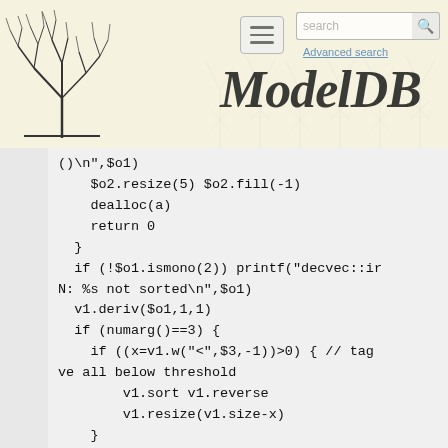[Figure (logo): ModelDB website header with neuron illustration on left, hamburger menu button, search bar, Advanced search link, and ModelDB italic title text on a light yellow/beige background]
()
",$o1)
    $o2.resize(5) $o2.fill(-1)
    dealloc(a)
    return 0
  }
  if (!$o1.ismono(2)) printf("decvec::ir
N: %s not sorted\n",$o1)
  v1.deriv($o1,1,1)
  if (numarg()==3) {
    if ((x=v1.w("<",$3,-1))>0) { // tag
ve all below threshold
        v1.sort v1.reverse
        v1.resize(v1.size-x)
    }
  }
  stat(v1,$o2)
  sz=v1.size
  dealloc(a)
  return sz
}